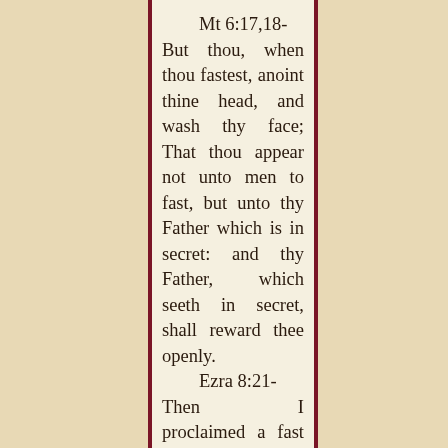Mt 6:17,18- But thou, when thou fastest, anoint thine head, and wash thy face; That thou appear not unto men to fast, but unto thy Father which is in secret: and thy Father, which seeth in secret, shall reward thee openly.
Ezra 8:21- Then I proclaimed a fast there, at the river of Ahava, that